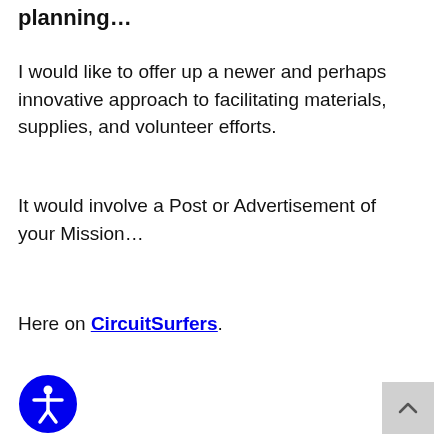planning...
I would like to offer up a newer and perhaps innovative approach to facilitating materials, supplies, and volunteer efforts.
It would involve a Post or Advertisement of your Mission…
Here on CircuitSurfers.